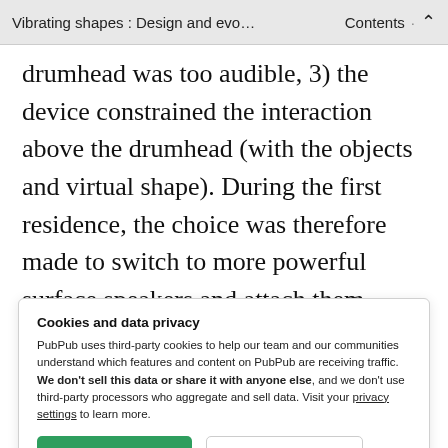Vibrating shapes : Design and evo… · Contents ^
drumhead was too audible, 3) the device constrained the interaction above the drumhead (with the objects and virtual shape). During the first residence, the choice was therefore made to switch to more powerful surface speakers and attach them below the drum to the resonance head so they can be hidden and
Cookies and data privacy
PubPub uses third-party cookies to help our team and our communities understand which features and content on PubPub are receiving traffic. We don't sell this data or share it with anyone else, and we don't use third-party processors who aggregate and sell data. Visit your privacy settings to learn more.
[Accept] [Disable]
…